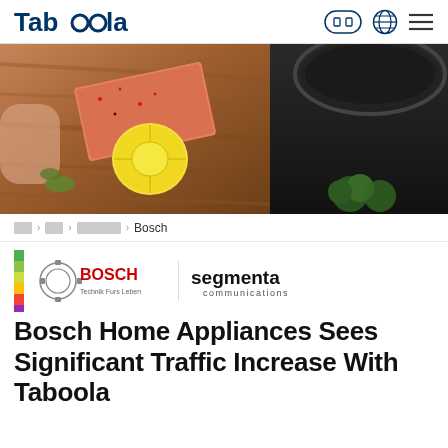Taboola
[Figure (photo): Hero food photo: hands holding salmon with lemon slice on wooden cutting board (left), dark cooking pot with broccoli (right)]
[breadcrumb] [box] > [box] > [box box box] > Bosch
[Figure (logo): Bosch logo (gear icon with BOSCH in red, Technik Furs Leben) and segmenta communications logo, with a vertical color bar on the left]
Bosch Home Appliances Sees Significant Traffic Increase With Taboola